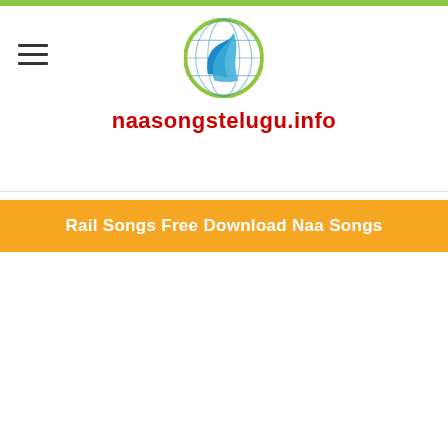[Figure (logo): Globe logo with blue wave/swoosh design and green outline circle for naasongstelugu.info website]
naasongstelugu.info
Rail Songs Free Download Naa Songs